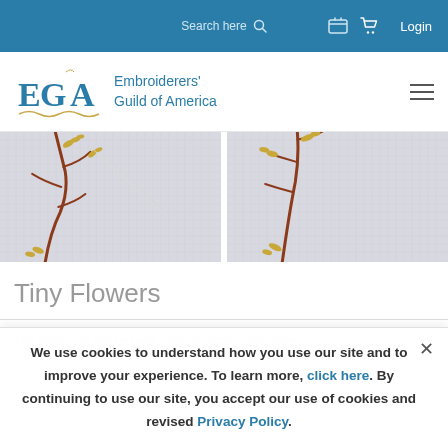Search here  Login
[Figure (logo): EGA Embroiderers' Guild of America logo with teal serif letters and navigation hamburger menu]
[Figure (photo): Two close-up photos of embroidery stitching on linen fabric, showing tiny flower branch details with gold and brown thread]
Tiny Flowers
The petals are worked with cast-on stitch manipulated...
We use cookies to understand how you use our site and to improve your experience. To learn more, click here. By continuing to use our site, you accept our use of cookies and revised Privacy Policy.